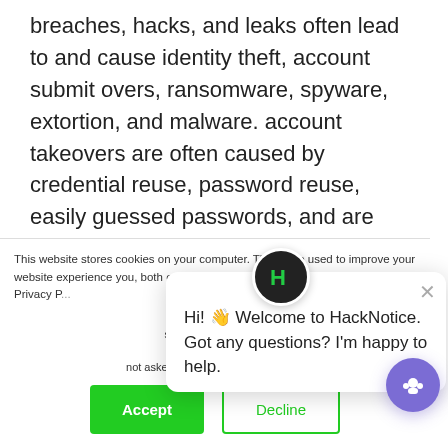breaches, hacks, and leaks often lead to and cause identity theft, account submit overs, ransomware, spyware, extortion, and malware. account takeovers are often caused by credential reuse, password reuse, easily guessed passwords, and are facilitated by the sharing of billions of credentials and other customer info through data leaks, as the direct result of data breaches and hacks.
This website stores cookies on your computer. These are used to improve your website experience you, both on this website and through cookies we use, see our Privacy P...
We won't track your site. But in order to c we'll have to use jus not asked to make this choice again.
Hi! 👋 Welcome to HackNotice. Got any questions? I'm happy to help.